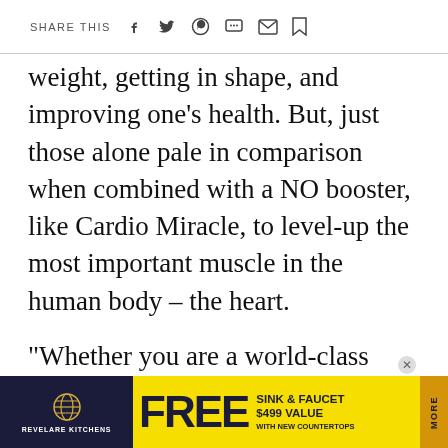SHARE THIS
weight, getting in shape, and improving one's health. But, just those alone pale in comparison when combined with a NO booster, like Cardio Miracle, to level-up the most important muscle in the human body – the heart.
“Whether you are a world-class athlete, a weekend warrior, or just looking to improve your overall fitness and life vitality, increasing NO has proven to help performance,” Dr. Fliri said. “Cardio Miracle is made from the highest qualit... scienc...
[Figure (infographic): Advertisement banner for Revelare Kitchens offering FREE SINK & FAUCET $499 VALUE WITH NEW COUNTERTOPS. Yellow and dark navy background with MORE tab on right side.]